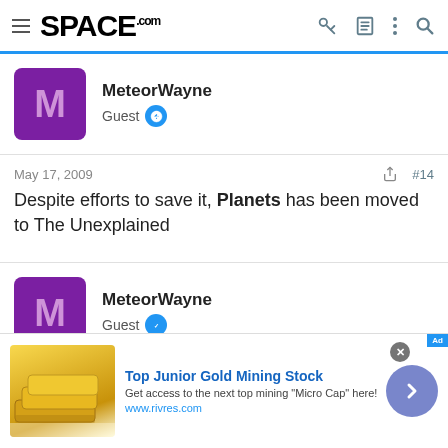SPACE.com
MeteorWayne
Guest
May 17, 2009  #14
Despite efforts to save it, Planets has been moved to The Unexplained
MeteorWayne
Guest
May 19, 2009
[Figure (screenshot): Advertisement banner for Top Junior Gold Mining Stock from www.rivres.com with gold bar image and navigation arrow button]